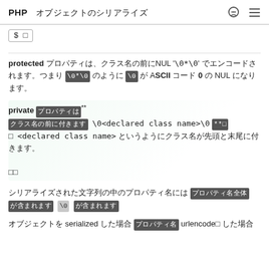PHP オブジェクトのシリアライズ
$ □
protected プロパティは、クラス名の前にNUL '*' NUL でエンコードされます。つまり \0*\0 のように \0 が ASCII コード 0 の NUL になります。
private プロパティは \0<declared class name>\0 **□ □ <declared class name> というようにクラス名が先頭と末尾に付きます。
シリアライズされた文字列の中のプロパティ名には \0 が含まれます。
オブジェクトを urlencode した場合